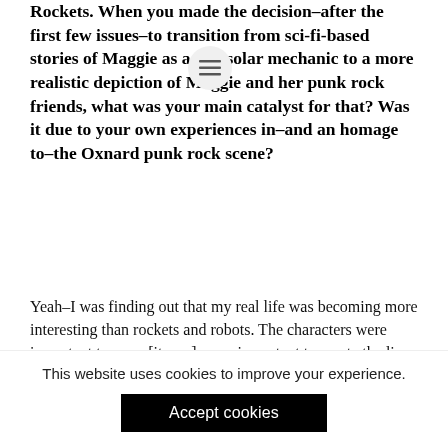Rockets. When you made the decision–after the first few issues–to transition from sci-fi-based stories of Maggie as a pro-solar mechanic to a more realistic depiction of Maggie and her punk rock friends, what was your main catalyst for that? Was it due to your own experiences in–and an homage to–the Oxnard punk rock scene?
Yeah–I was finding out that my real life was becoming more interesting than rockets and robots. The characters were important to me... [it was] more important to create the lives of these characters and the discourse in the
This website uses cookies to improve your experience.
Accept cookies